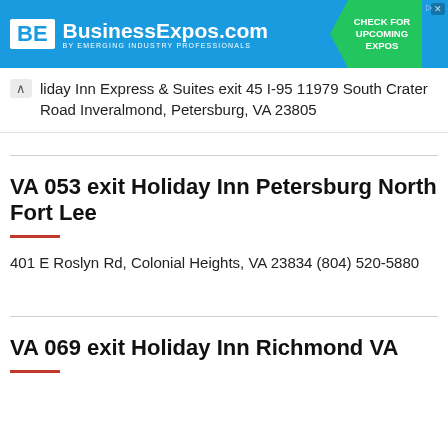[Figure (infographic): BusinessExpos.com advertisement banner with blue background, BE logo in white box, tagline 'by EMERGING INDUSTRY PROFESSIONALS', and green arrow badge saying 'CHECK FOR UPCOMING EXPOS']
liday Inn Express & Suites exit 45 I-95 11979 South Crater Road Inveralmond, Petersburg, VA 23805
VA 053 exit Holiday Inn Petersburg North Fort Lee
401 E Roslyn Rd, Colonial Heights, VA 23834 (804) 520-5880
VA 069 exit Holiday Inn Richmond VA